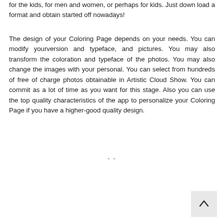for the kids, for men and women, or perhaps for kids. Just down load a format and obtain started off nowadays!
The design of your Coloring Page depends on your needs. You can modify yourversion and typeface, and pictures. You may also transform the coloration and typeface of the photos. You may also change the images with your personal. You can select from hundreds of free of charge photos obtainable in Artistic Cloud Show. You can commit as a lot of time as you want for this stage. Also you can use the top quality characteristics of the app to personalize your Coloring Page if you have a higher-good quality design.